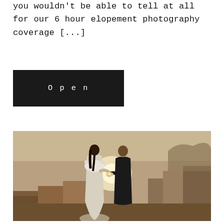you wouldn't be able to tell at all for our 6 hour elopement photography coverage [...]
Open
[Figure (photo): A couple exchanging rings during an outdoor elopement ceremony on rocky terrain at golden hour. The bride wears a white feathered/lace dress and the groom is in a dark suit. Warm backlight creates a glowing effect between them.]